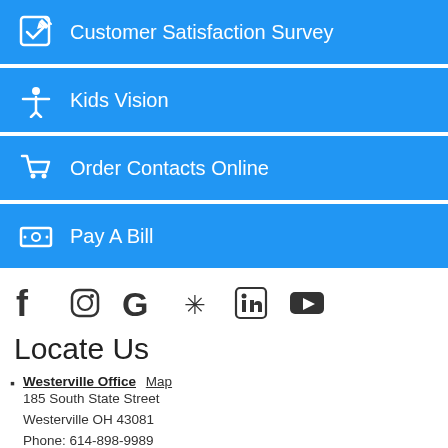Customer Satisfaction Survey
Kids Vision
Order Contacts Online
Pay A Bill
[Figure (infographic): Social media icons: Facebook, Instagram, Google, Yelp, LinkedIn, YouTube]
Locate Us
Westerville Office Map
185 South State Street
Westerville OH 43081
Phone: 614-898-9989
Fax: 614-898-3054
Johnstown Office Map
703 West Coshocton Street